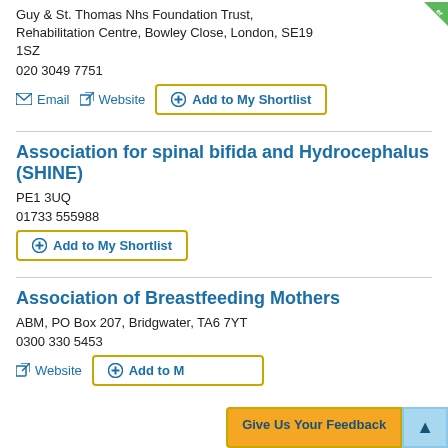Guy & St. Thomas Nhs Foundation Trust, Rehabilitation Centre, Bowley Close, London, SE19 1SZ
020 3049 7751
Email  Website  Add to My Shortlist
Association for spinal bifida and Hydrocephalus (SHINE)
PE1 3UQ
01733 555988
Add to My Shortlist
Association of Breastfeeding Mothers
ABM, PO Box 207, Bridgwater, TA6 7YT
0300 330 5453
Website  Add to My Shortlist
Give Us Your Feedback